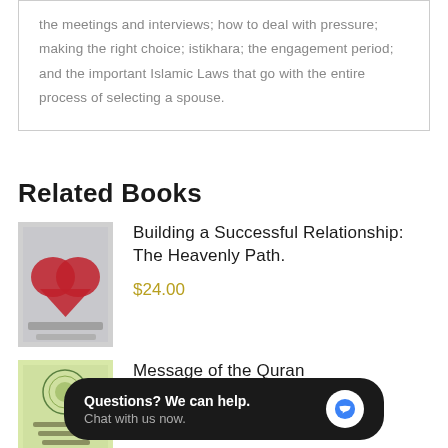the meetings and interviews; how to deal with pressure; making the right choice; istikhara; the engagement period; and the important Islamic Laws that go with the entire process of selecting a spouse.
Related Books
[Figure (photo): Book cover of 'Building a Successful Relationship: The Heavenly Path.' showing a heart shape]
Building a Successful Relationship: The Heavenly Path.
$24.00
[Figure (photo): Book cover of 'Message of the Quran' with decorative Islamic art on a light green background]
Message of the Quran
$24.00
Questions? We can help. Chat with us now.